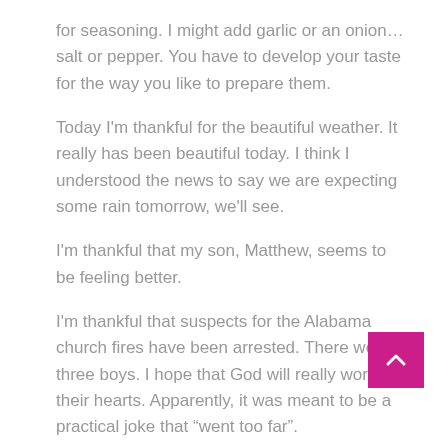for seasoning. I might add garlic or an onion…salt or pepper. You have to develop your taste for the way you like to prepare them.
Today I'm thankful for the beautiful weather. It really has been beautiful today. I think I understood the news to say we are expecting some rain tomorrow, we'll see.
I'm thankful that my son, Matthew, seems to be feeling better.
I'm thankful that suspects for the Alabama church fires have been arrested. There were three boys. I hope that God will really work in their hearts. Apparently, it was meant to be a practical joke that “went too far”.
I'm thankful for good friends and family.
I'm thankful for what the Lord continues to show me about His Word.